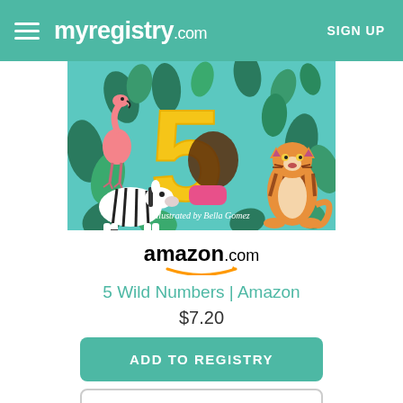myregistry.com  SIGN UP
[Figure (illustration): Children's book cover illustration with a teal/aqua background featuring a large yellow number 5, jungle animals including a flamingo, zebra, and tiger, green tropical leaves and plants. Text reads 'Illustrated by Bella Gomez']
[Figure (logo): Amazon.com logo with orange smile/arrow underneath]
5 Wild Numbers | Amazon
$7.20
ADD TO REGISTRY
BUY